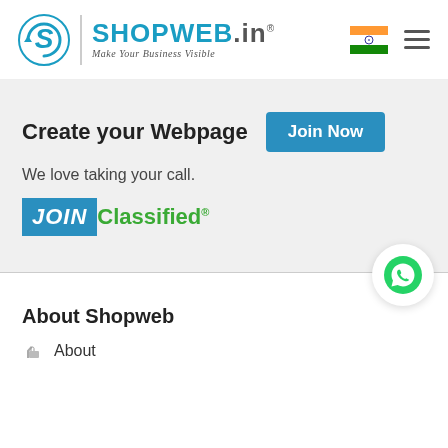[Figure (logo): Shopweb.in logo with circular SW icon, vertical divider, SHOPWEB.in text in blue, and italic tagline 'Make Your Business Visible']
[Figure (illustration): Indian national flag icon]
[Figure (illustration): Hamburger menu icon (three horizontal lines)]
Create your Webpage
Join Now
We love taking your call.
[Figure (logo): JOIN Classified® logo — JOIN in white italic on blue box, Classified in green]
[Figure (illustration): WhatsApp icon in green circle on white circular badge]
About Shopweb
About